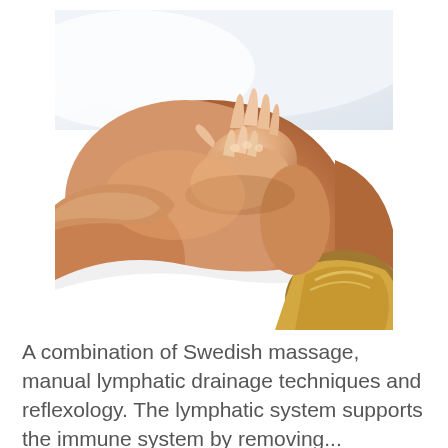[Figure (photo): A person lying face down receiving a back massage. A therapist's hands are pressing on the person's upper back/shoulders. The person has blonde hair. White towels/sheets are visible.]
A combination of Swedish massage, manual lymphatic drainage techniques and reflexology. The lymphatic system supports the immune system by removing...